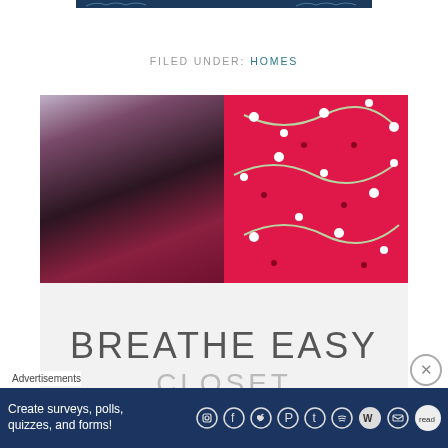[Figure (illustration): Partial decorative banner image at top of page with dark teal/navy floral pattern]
FILED UNDER: HOMES
[Figure (photo): Article thumbnail collage: left half shows dark moody bedroom scene with pink/magenta fabric; right half shows bright pink/red floral fabric pattern with white flowers and green leaves]
BREATHE EASY CLOSET
Advertisements
[Figure (infographic): Bottom advertisement banner with dark navy background and white text: 'Create surveys, polls, quizzes, and forms!' with social icons row below including Instagram, Facebook, Twitter, Pinterest, Tumblr, Spotify, WordPress, email, and a circular close button]